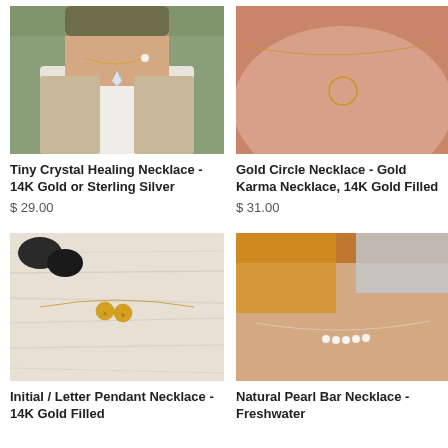[Figure (photo): Woman wearing Tiny Crystal Healing Necklace with white top and cardigan]
[Figure (photo): Close up of neck/chest wearing Gold Circle Necklace on rose-gold chain]
Tiny Crystal Healing Necklace - 14K Gold or Sterling Silver
$ 29.00
Gold Circle Necklace - Gold Karma Necklace, 14K Gold Filled
$ 31.00
[Figure (photo): Initial Letter Pendant Necklace on wood surface with stones]
[Figure (photo): Natural Pearl Bar Necklace on woman's neck]
Initial / Letter Pendant Necklace - 14K Gold Filled
Natural Pearl Bar Necklace - Freshwater